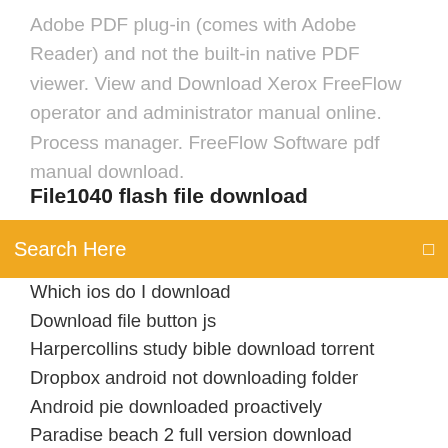Adobe PDF plug-in (comes with Adobe Reader) and not the built-in native PDF viewer. View and Download Xerox FreeFlow operator and administrator manual online. Process manager. FreeFlow Software pdf manual download.
File1040 flash file download
[Figure (screenshot): Orange search bar with text 'Search Here' and a search icon on the right]
Which ios do I download
Download file button js
Harpercollins study bible download torrent
Dropbox android not downloading folder
Android pie downloaded proactively
Paradise beach 2 full version download
Minecraft space mod download
Gta v download really slow pc
How to download torrent in blocked wifi
Adel 25 album download adele torrent
Classic concentration android game download